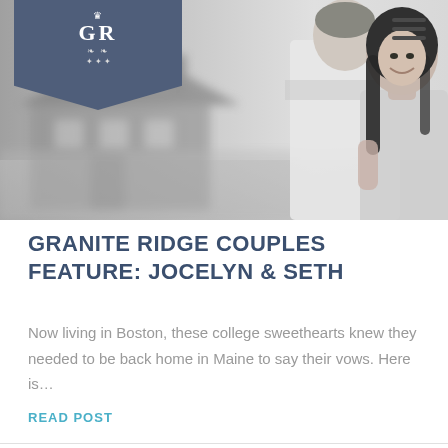[Figure (photo): Black and white photo of a couple outdoors near a house. The man is viewed from behind in a light shirt, and the woman faces forward smiling, with dark hair. A blurred house is visible in the background. A logo banner for 'Granite Ridge' (GR initials with crown and wreath) is overlaid on the upper left, and a hamburger menu icon is in the upper right.]
GRANITE RIDGE COUPLES FEATURE: JOCELYN & SETH
Now living in Boston, these college sweethearts knew they needed to be back home in Maine to say their vows. Here is…
READ POST